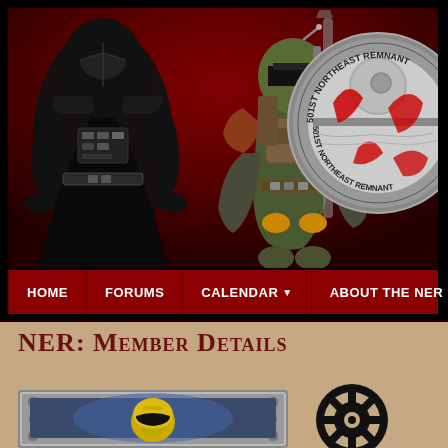[Figure (photo): Website header banner with Darth Vader and Boba Fett Star Wars costumed figures against a dark red background, with a 501st Northeast Remnant circular logo on the right]
[Figure (screenshot): Navigation bar with items: HOME, FORUMS, CALENDAR (dropdown), ABOUT THE NER (dropdown), JOIN]
NER: Member Details
[Figure (photo): Member photo showing a Star Wars Clone Trooper helmet in a display frame with metallic border]
[Figure (logo): Star Wars Galactic Empire Imperial cog/wheel logo in black]